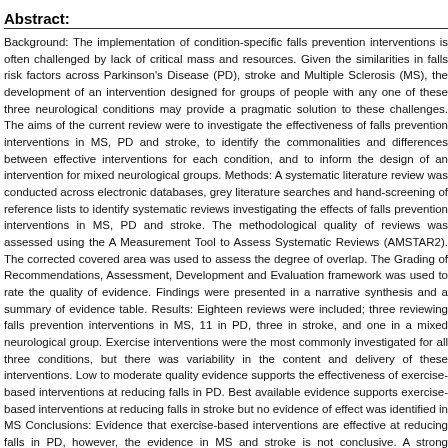Abstract:
Background: The implementation of condition-specific falls prevention interventions is often challenged by lack of critical mass and resources. Given the similarities in falls risk factors across Parkinson's Disease (PD), stroke and Multiple Sclerosis (MS), the development of an intervention designed for groups of people with any one of these three neurological conditions may provide a pragmatic solution to these challenges. The aims of the current review were to investigate the effectiveness of falls prevention interventions in MS, PD and stroke, to identify the commonalities and differences between effective interventions for each condition, and to inform the design of an intervention for mixed neurological groups. Methods: A systematic literature review was conducted across electronic databases, grey literature searches and hand-screening of reference lists to identify systematic reviews investigating the effects of falls prevention interventions in MS, PD and stroke. The methodological quality of reviews was assessed using the A Measurement Tool to Assess Systematic Reviews (AMSTAR2). The corrected covered area was used to assess the degree of overlap. The Grading of Recommendations, Assessment, Development and Evaluation framework was used to rate the quality of evidence. Findings were presented in a narrative synthesis and a summary of evidence table. Results: Eighteen reviews were included; three reviewing falls prevention interventions in MS, 11 in PD, three in stroke, and one in a mixed neurological group. Exercise interventions were the most commonly investigated for all three conditions, but there was variability in the content and delivery of these interventions. Low to moderate quality evidence supports the effectiveness of exercise-based interventions at reducing falls in PD. Best available evidence supports exercise-based interventions at reducing falls in stroke but no evidence of effect was identified in MS Conclusions: Evidence that exercise-based interventions are effective at reducing falls in PD, however, the evidence in MS and stroke is not conclusive. A strong theoretical rationale remains for the use of exercise-bas